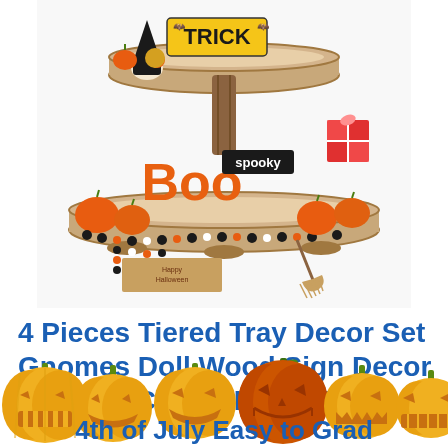[Figure (photo): A two-tiered wooden tray decorated with Halloween items: a gnome doll, pumpkins, a 'Boo' wooden sign, a 'spooky' sign, a bead garland, and a mini broom.]
4 Pieces Tiered Tray Decor Set Gnomes Doll Wood Sign Decor Wooden Cutout Letter Sign
[Figure (illustration): A row of cartoon Halloween jack-o-lantern pumpkins with various carved faces, in yellow-orange color, overlapping the bottom of the page. One slightly darker orange pumpkin is in the middle-right area.]
4th of July Easy to Grad